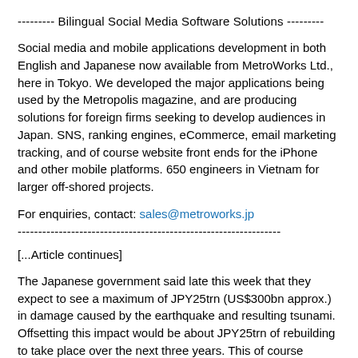--------- Bilingual Social Media Software Solutions ---------
Social media and mobile applications development in both English and Japanese now available from MetroWorks Ltd., here in Tokyo. We developed the major applications being used by the Metropolis magazine, and are producing solutions for foreign firms seeking to develop audiences in Japan. SNS, ranking engines, eCommerce, email marketing tracking, and of course website front ends for the iPhone and other mobile platforms. 650 engineers in Vietnam for larger off-shored projects.
For enquiries, contact: sales@metroworks.jp
----------------------------------------------------------------
[...Article continues]
The Japanese government said late this week that they expect to see a maximum of JPY25trn (US$300bn approx.) in damage caused by the earthquake and resulting tsunami. Offsetting this impact would be about JPY25trn of rebuilding to take place over the next three years. This of course assumes that people decide to go back to living where they were and that entire communities won't instead decide to uproot and move somewhere else -- something which appears to be happening amongst working-age people. The oldies will of course stay where they are.